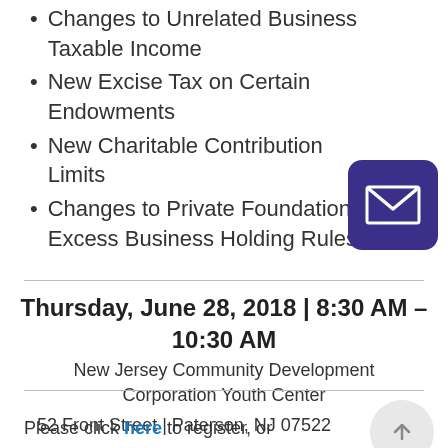Changes to Unrelated Business Taxable Income
New Excise Tax on Certain Endowments
New Charitable Contribution Limits
Changes to Private Foundation Excess Business Holding Rules
Thursday, June 28, 2018 | 8:30 AM – 10:30 AM
New Jersey Community Development Corporation Youth Center
52 Front Street | Paterson, NJ 07522
Please click here to register, or